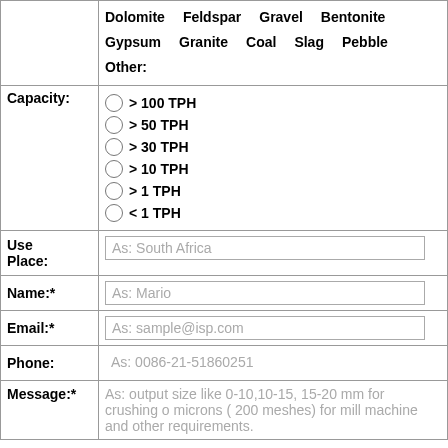|  | Materials / Capacity / Contact |
| --- | --- |
|  | Dolomite  Feldspar  Gravel  Bentonite  Gypsum  Granite  Coal  Slag  Pebble  Other: |
| Capacity: | > 100 TPH
> 50 TPH
> 30 TPH
> 10 TPH
> 1 TPH
< 1 TPH |
| Use Place: | As: South Africa |
| Name:* | As: Mario |
| Email:* | As: sample@isp.com |
| Phone: | As: 0086-21-51860251 |
| Message:* | As: output size like 0-10,10-15, 15-20 mm for crushing or 75 microns ( 200 meshes) for mill machine and other requirements. |